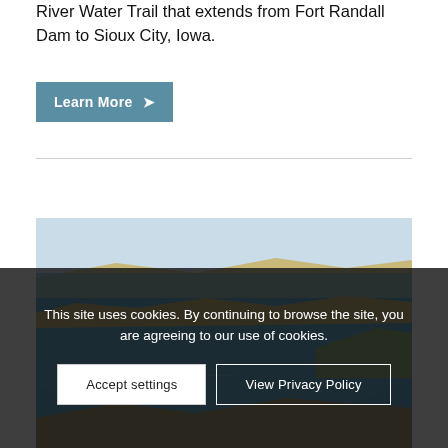River Water Trail that extends from Fort Randall Dam to Sioux City, Iowa.
Learn More →
[Figure (photo): Aerial view of a large blue reservoir or lake with brown/tan hills and sparse vegetation on the shoreline, likely Lake Francis Case or Lewis and Clark Lake along the Missouri River.]
This site uses cookies. By continuing to browse the site, you are agreeing to our use of cookies.
Accept settings
View Privacy Policy